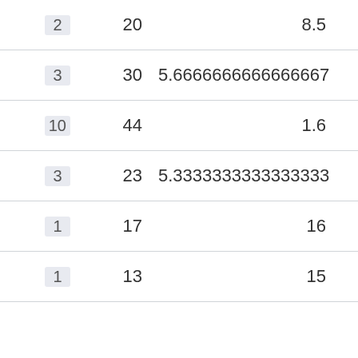| 2 | 20 | 8.5 | 85 |
| 3 | 30 | 5.6666666666666667 | 56.66 |
| 10 | 44 | 1.6 | 36.36 |
| 3 | 23 | 5.3333333333333333 | 69.56 |
| 1 | 17 | 16 | 94.11 |
| 1 | 13 | 15 | 115.3 |